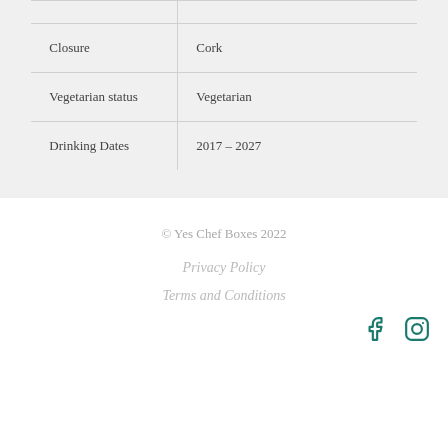|  |  |
| Closure | Cork |
| Vegetarian status | Vegetarian |
| Drinking Dates | 2017 – 2027 |
© Yes Chef Boxes 2022
Privacy Policy
Terms and Conditions